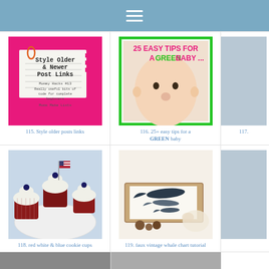☰
[Figure (photo): Pink background graphic with notepad saying 'Style Older & Newer Post Links', Mommy Hacks #13, Mums Make Lists]
115. Style older posts links
[Figure (photo): Baby photo with green border and text '25 EASY TIPS FOR A GREEN BABY ...']
116. 25+ easy tips for a GREEN baby
[Figure (photo): Partial image cut off on right]
117.
[Figure (photo): Red velvet cupcakes with white frosting and blueberries, American flag picks]
118. red white & blue cookie cups
[Figure (photo): Vintage whale chart with whale illustrations and decorative objects]
119. faux vintage whale chart tutorial
[Figure (photo): Partial image cut off on right]
[Figure (photo): Partial bottom strip image]
[Figure (photo): Partial bottom strip image]